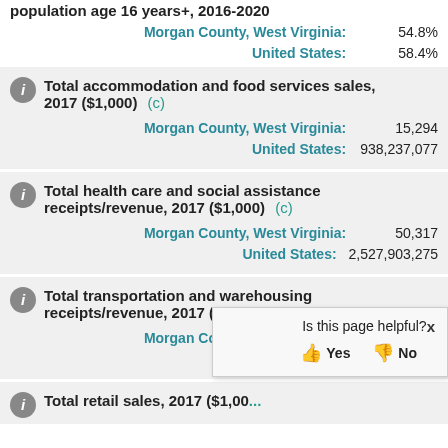population age 16 years+, 2016-2020
Morgan County, West Virginia: 54.8%
United States: 58.4%
Total accommodation and food services sales, 2017 ($1,000) (c)
Morgan County, West Virginia: 15,294
United States: 938,237,077
Total health care and social assistance receipts/revenue, 2017 ($1,000) (c)
Morgan County, West Virginia: 50,317
United States: 2,527,903,275
Total transportation and warehousing receipts/revenue, 2017 ($1,000) (c)
Morgan County, West Virginia: D
United (States:)
Total retail sales, 2017 ($1,000)
Is this page helpful? Yes No